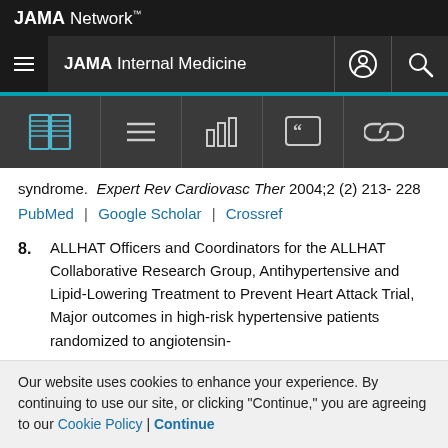JAMA Network
JAMA Internal Medicine
syndrome. Expert Rev Cardiovasc Ther 2004;2 (2) 213- 228
PubMed | Google Scholar | Crossref
8. ALLHAT Officers and Coordinators for the ALLHAT Collaborative Research Group, Antihypertensive and Lipid-Lowering Treatment to Prevent Heart Attack Trial, Major outcomes in high-risk hypertensive patients randomized to angiotensin-
Our website uses cookies to enhance your experience. By continuing to use our site, or clicking "Continue," you are agreeing to our Cookie Policy | Continue